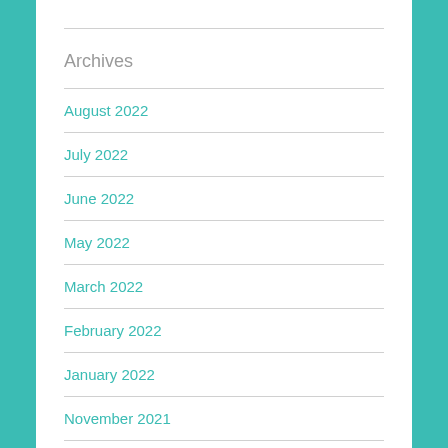Archives
August 2022
July 2022
June 2022
May 2022
March 2022
February 2022
January 2022
November 2021